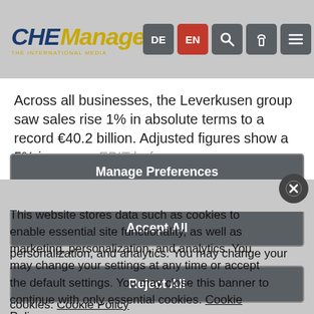CHEManager — DE | EN navigation header with search and menu buttons
Across all businesses, the Leverkusen group saw sales rise 1% in absolute terms to a record €40.2 billion. Adjusted figures show a 5% increase. EBIT before
This website stores data such as cookies to enable essential site functionality, as well as marketing, personalization, and analytics. You may change your settings at any time or accept the default settings. You may close this banner to continue with only essential cookies. Cookie Policy
Manage Preferences
Accept All
Reject All